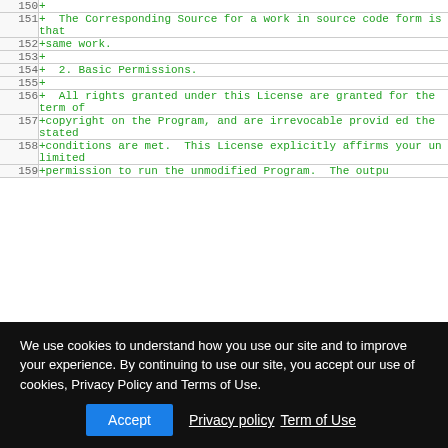| line | content |
| --- | --- |
| 150 | + |
| 151 | +  The Corresponding Source for a work in source code form is that |
| 152 | +same work. |
| 153 | + |
| 154 | +  2. Basic Permissions. |
| 155 | + |
| 156 | +  All rights granted under this License are granted for the term of |
| 157 | +copyright on the Program, and are irrevocable provided the stated |
| 158 | +conditions are met.  This License explicitly affirms your unlimited |
| 159 | +permission to run the unmodified Program.  The outpu |
We use cookies to understand how you use our site and to improve your experience. By continuing to use our site, you accept our use of cookies, Privacy Policy and Terms of Use.
Accept  Privacy policy  Term of Use